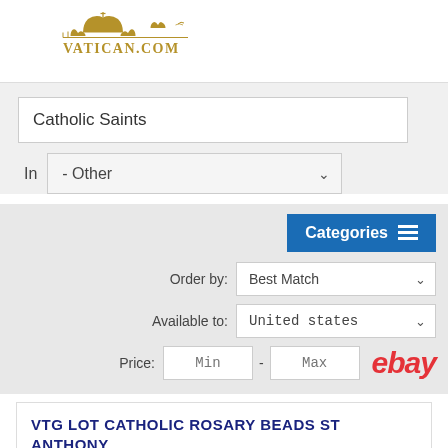[Figure (logo): Vatican.com logo with golden dome illustration above the text VATICAN.COM in golden serif letters]
Catholic Saints
In  - Other
Categories
Order by:  Best Match
Available to:  United states
Price:  Min  -  Max
[Figure (logo): eBay logo in red italic letters]
VTG LOT CATHOLIC ROSARY BEADS ST ANTHONY